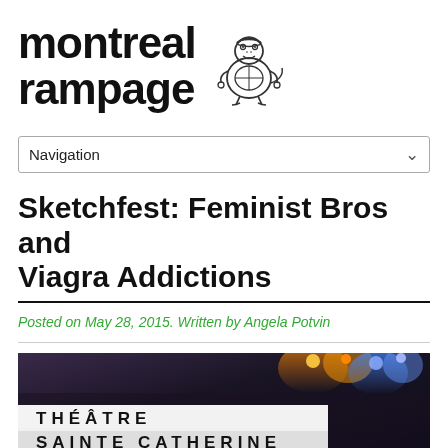montreal rampage
[Figure (illustration): Small cartoon dinosaur/dragon character illustration next to the site title]
Navigation
Sketchfest: Feminist Bros and Viagra Addictions
Posted on May 28, 2015. Written by Angela Potvin
[Figure (photo): Nighttime photo showing a theatre sign reading THÉÂTRE SAINTE CATHERINE with stage lights in background]